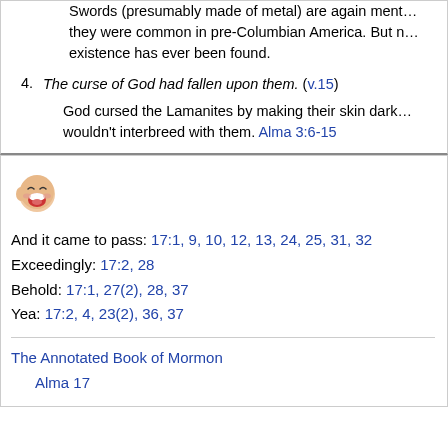Swords (presumably made of metal) are again mentioned as if they were common in pre-Columbian America. But no evidence of their existence has ever been found.
4. The curse of God had fallen upon them. (v.15)
God cursed the Lamanites by making their skin dark so Nephites wouldn't interbreed with them. Alma 3:6-15
[Figure (illustration): Small cartoon face icon with open mouth, laughing or talking]
And it came to pass: 17:1, 9, 10, 12, 13, 24, 25, 31, 32
Exceedingly: 17:2, 28
Behold: 17:1, 27(2), 28, 37
Yea: 17:2, 4, 23(2), 36, 37
The Annotated Book of Mormon
    Alma 17